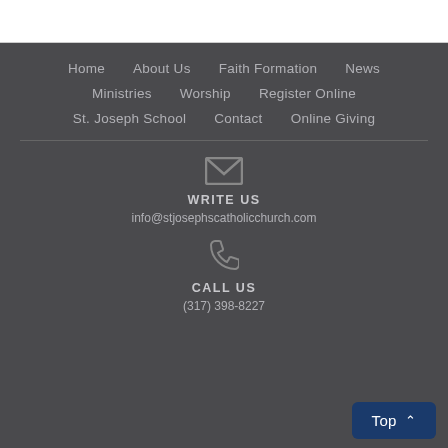Home   About Us   Faith Formation   News
Ministries   Worship   Register Online
St. Joseph School   Contact   Online Giving
[Figure (illustration): Envelope icon (mail symbol) in gray]
WRITE US
info@stjosephscatholicchurch.com
[Figure (illustration): Phone handset icon in gray]
CALL US
(317) 398-8227
Top ▲